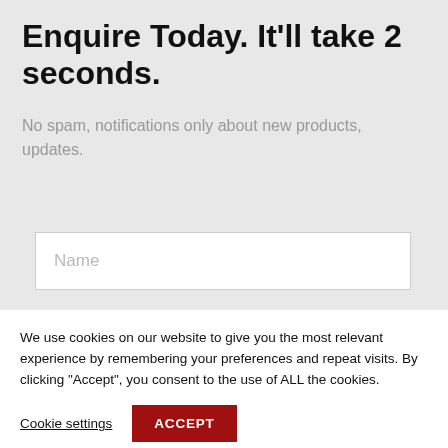Enquire Today. It'll take 2 seconds.
No spam, notifications only about new products, updates.
We use cookies on our website to give you the most relevant experience by remembering your preferences and repeat visits. By clicking “Accept”, you consent to the use of ALL the cookies.
Cookie settings
ACCEPT